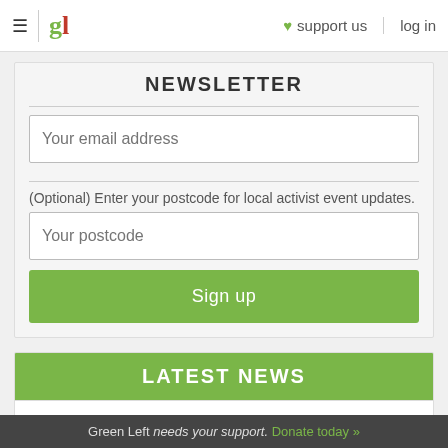gl | ♥ support us | log in
NEWSLETTER
Your email address
(Optional) Enter your postcode for local activist event updates.
Your postcode
Sign up
LATEST NEWS
It's all political: Julian Assange appeals his extradition
NT Chief Minister downplays Don Dale self-harm
Green Left needs your support. Donate today »